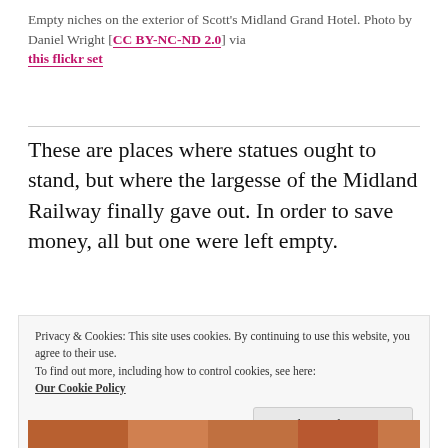Empty niches on the exterior of Scott's Midland Grand Hotel. Photo by Daniel Wright [CC BY-NC-ND 2.0] via this flickr set
These are places where statues ought to stand, but where the largesse of the Midland Railway finally gave out. In order to save money, all but one were left empty.
[Figure (photo): Architectural detail photo showing ornate carved stone arch/frame with cream and white decorative molding against reddish-brown brick or stone background]
Privacy & Cookies: This site uses cookies. By continuing to use this website, you agree to their use.
To find out more, including how to control cookies, see here:
Our Cookie Policy
Close and accept
[Figure (photo): Bottom strip of another architectural photo showing reddish-orange stone or brick detail]